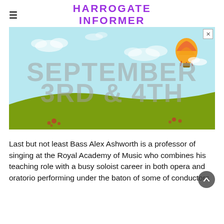HARROGATE INFORMER
[Figure (illustration): Advertisement banner showing a light blue sky background with green rolling hills, a hot air balloon on the upper right, decorative flower elements, and large grey text reading 'SEPTEMBER 3RD & 4TH'. A close (X) button appears in the top-right corner.]
Last but not least Bass Alex Ashworth is a professor of singing at the Royal Academy of Music who combines his teaching role with a busy soloist career in both opera and oratorio performing under the baton of some of conductors